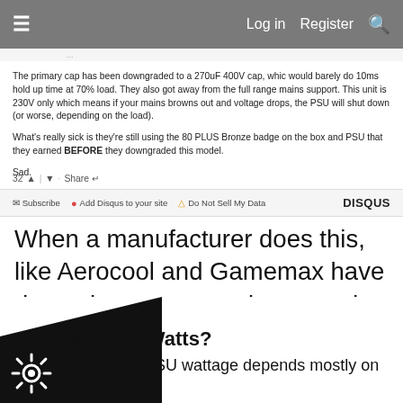≡  Log in  Register  🔍
The primary cap has been downgraded to a 270uF 400V cap, whic would barely do 10ms hold up time at 70% load. They also got away from the full range mains support. This unit is 230V only which means if your mains browns out and voltage drops, the PSU will shut down (or worse, depending on the load).
What's really sick is they're still using the 80 PLUS Bronze badge on the box and PSU that they earned BEFORE they downgraded this model.
Sad.
32 ▲ | ▼ · Share ↩
✉ Subscribe  ● Add Disqus to your site  ▲ Do Not Sell My Data  DISQUS
When a manufacturer does this, like Aerocool and Gamemax have done, they are not to be trusted whatsoever, because they have no integrity as a company.
w many Watts?
uired total PSU wattage depends mostly on the CPU